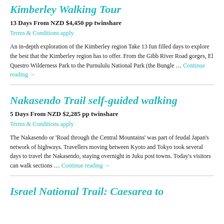Kimberley Walking Tour
13 Days From NZD $4,450 pp twinshare
Terms & Conditions apply
An in-depth exploration of the Kimberley region Take 13 fun filled days to explore the best that the Kimberley region has to offer. From the Gibb River Road gorges, El Questro Wilderness Park to the Purnululu National Park (the Bungle … Continue reading →
Nakasendo Trail self-guided walking
5 Days From NZD $2,285 pp twinshare
Terms & Conditions apply
The Nakasendo or 'Road through the Central Mountains' was part of feudal Japan's network of highways. Travellers moving between Kyoto and Tokyo took several days to travel the Nakasendo, staying overnight in Juku post towns. Today's visitors can walk sections … Continue reading →
Israel National Trail: Caesarea to